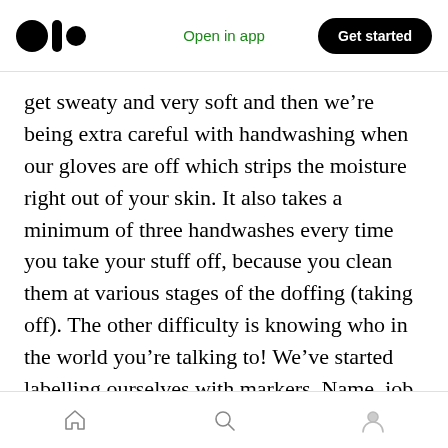Open in app | Get started
get sweaty and very soft and then we’re being extra careful with handwashing when our gloves are off which strips the moisture right out of your skin. It also takes a minimum of three handwashes every time you take your stuff off, because you clean them at various stages of the doffing (taking off). The other difficulty is knowing who in the world you’re talking to! We’ve started labelling ourselves with markers. Name, job and ITU or Non-ITU makes life a lot easier.
At least half of my colleagues are currently self
home | search | profile